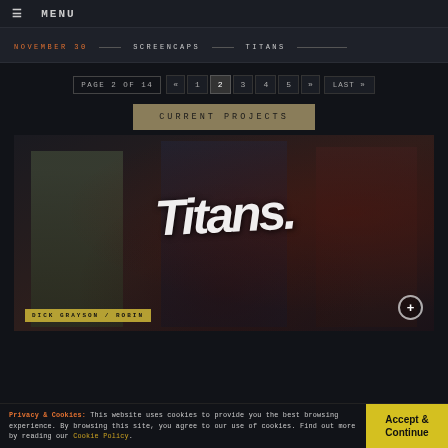≡ MENU
NOVEMBER 30 — SCREENCAPS — TITANS
PAGE 2 OF 14  «  1  2  3  4  5  »  LAST »
CURRENT PROJECTS
[Figure (photo): Titans TV show promotional image showing three characters (Dick Grayson/Robin in center wearing black superhero costume with goggles, flanked by two other characters). The Titans logo in large white brush-script overlays the image. A character label reads DICK GRAYSON / ROBIN at bottom left.]
Privacy & Cookies: This website uses cookies to provide you the best browsing experience. By browsing this site, you agree to our use of cookies. Find out more by reading our Cookie Policy.